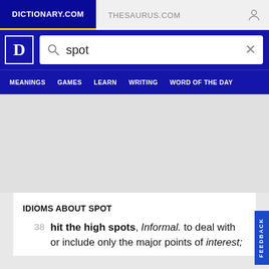DICTIONARY.COM   THESAURUS.COM
[Figure (screenshot): Dictionary.com logo with search bar containing 'spot' and navigation menu with MEANINGS, GAMES, LEARN, WRITING, WORD OF THE DAY]
IDIOMS ABOUT SPOT
38 hit the high spots, Informal. to deal with or include only the major points of interest;